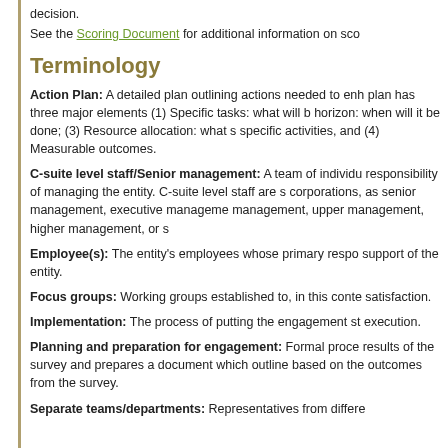decision.
See the Scoring Document for additional information on sco
Terminology
Action Plan: A detailed plan outlining actions needed to enhance... plan has three major elements (1) Specific tasks: what will b... horizon: when will it be done; (3) Resource allocation: what s... specific activities, and (4) Measurable outcomes.
C-suite level staff/Senior management: A team of individu... responsibility of managing the entity. C-suite level staff are s... corporations, as senior management, executive manageme... management, upper management, higher management, or s...
Employee(s): The entity's employees whose primary respo... support of the entity.
Focus groups: Working groups established to, in this conte... satisfaction.
Implementation: The process of putting the engagement st... execution.
Planning and preparation for engagement: Formal proce... results of the survey and prepares a document which outline... based on the outcomes from the survey.
Separate teams/departments: Representatives from differe...